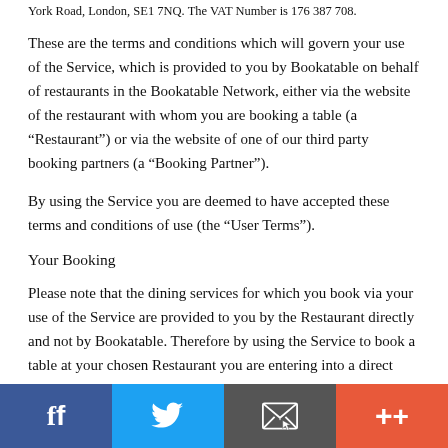York Road, London, SE1 7NQ. The VAT Number is 176 387 708.
These are the terms and conditions which will govern your use of the Service, which is provided to you by Bookatable on behalf of restaurants in the Bookatable Network, either via the website of the restaurant with whom you are booking a table (a “Restaurant”) or via the website of one of our third party booking partners (a “Booking Partner”).
By using the Service you are deemed to have accepted these terms and conditions of use (the “User Terms”).
Your Booking
Please note that the dining services for which you book via your use of the Service are provided to you by the Restaurant directly and not by Bookatable. Therefore by using the Service to book a table at your chosen Restaurant you are entering into a direct contract with that Restaurant and Bookatable is not a party to that